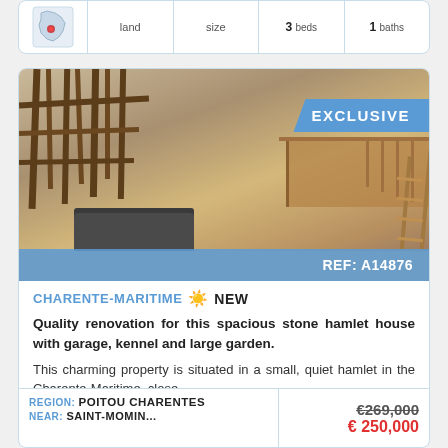|  | land | size | beds | baths |
| --- | --- | --- | --- | --- |
| [map image] | land | size | 3 beds | 1 baths |
[Figure (photo): Interior photo of a renovated stone hamlet house showing high timber-frame ceiling, mezzanine level with wooden railing, staircase/ladder, sofa seating area, and open-plan living space. Blue 'EXCLUSIVE' banner in top right. Blue bar at bottom with 'REF: A14876'.]
CHARENTE-MARITIME ☀ NEW
Quality renovation for this spacious stone hamlet house with garage, kennel and large garden.
This charming property is situated in a small, quiet hamlet in the Charente-Maritime, close . . .
| REGION | NEAR | Price |
| --- | --- | --- |
| POITOU CHARENTES | SAINT-MOMIN... | €269,000 / € 250,000 |